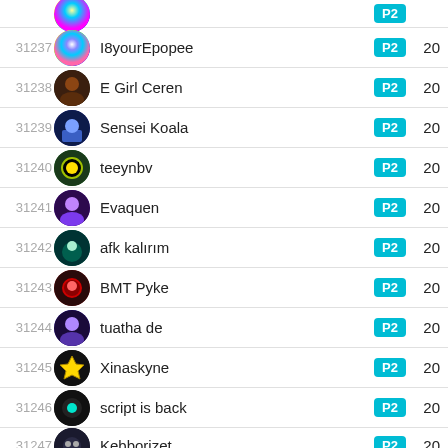| Rank | Avatar | Name | Badge | Points |
| --- | --- | --- | --- | --- |
| 31237 |  | I8yourEpopee | P2 | 20 |
| 31238 |  | E Girl Ceren | P2 | 20 |
| 31239 |  | Sensei Koala | P2 | 20 |
| 31240 |  | teeynbv | P2 | 20 |
| 31241 |  | Evaquen | P2 | 20 |
| 31242 |  | afk kalırım | P2 | 20 |
| 31243 |  | BMT Pyke | P2 | 20 |
| 31244 |  | tuatha de | P2 | 20 |
| 31245 |  | Xinaskyne | P2 | 20 |
| 31246 |  | script is back | P2 | 20 |
| 31247 |  | Kebborizet | P2 | 20 |